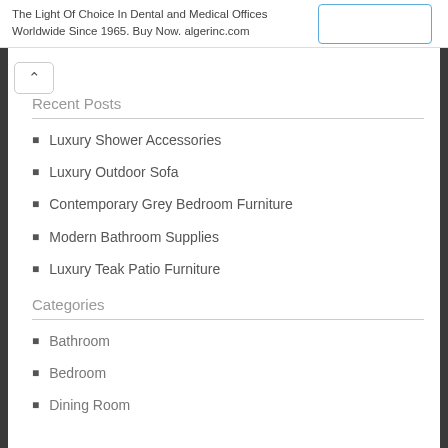The Light Of Choice In Dental and Medical Offices Worldwide Since 1965. Buy Now. algerinc.com
Recent Posts
Luxury Shower Accessories
Luxury Outdoor Sofa
Contemporary Grey Bedroom Furniture
Modern Bathroom Supplies
Luxury Teak Patio Furniture
Categories
Bathroom
Bedroom
Dining Room